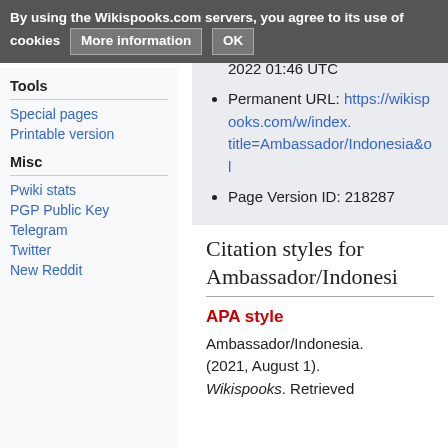By using the Wikispooks.com servers, you agree to its use of cookies   More information   OK
August 2021 19:09 UTC
Tools
Special pages
Printable version
Misc
Pwiki stats
PGP Public Key
Telegram
Twitter
New Reddit
Date retrieved: 23 August 2022 01:46 UTC
Permanent URL: https://wikispooks.com/w/index.title=Ambassador/Indonesia&ol
Page Version ID: 218287
Citation styles for Ambassador/Indonesi
APA style
Ambassador/Indonesia. (2021, August 1). Wikispooks. Retrieved